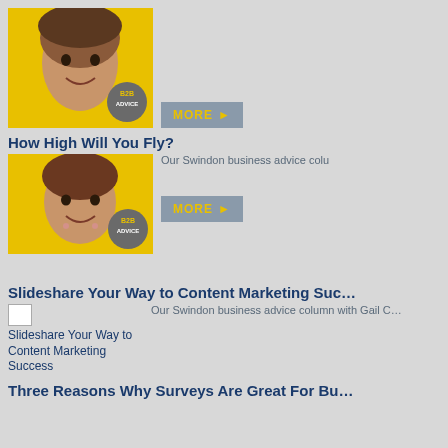[Figure (photo): Partial article thumbnail with B2B Advice badge and MORE button at top of page]
How High Will You Fly?
Our Swindon business advice colu…
[Figure (photo): Woman smiling on yellow background with B2B Advice badge]
MORE
Slideshare Your Way to Content Marketing Suc…
Our Swindon business advice column with Gail C…
[Figure (photo): Broken image placeholder for Slideshare article]
Slideshare Your Way to Content Marketing Success
MORE
Three Reasons Why Surveys Are Great For Bu…
Our Swindon business advice colu…
[Figure (photo): Woman smiling on yellow background with B2B Advice badge]
MORE
Are You Tied Up in Knots?
Our Swindon business advice colu…
[Figure (photo): Woman smiling on yellow background with B2B Advice badge partially visible]